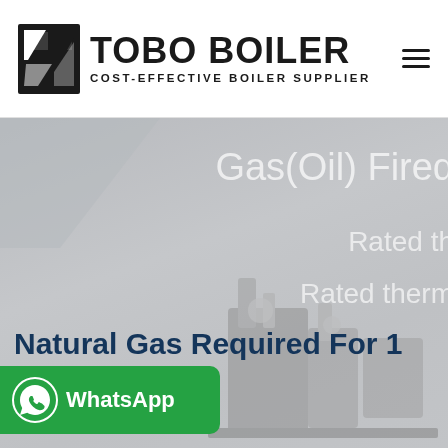[Figure (logo): Tobo Boiler logo with black geometric icon and bold text 'TOBO BOILER', tagline 'COST-EFFECTIVE BOILER SUPPLIER']
[Figure (photo): Gray hero banner with boiler machinery silhouette. Overlaid text: 'Gas(Oil) Fired', 'Rated th...', 'Rated therm...' in light white italic. Large dark blue bold title: 'Natural Gas Required For 1 ... h Boiler']
[Figure (infographic): Green WhatsApp button with phone icon and 'WhatsApp' label overlaid on the hero image]